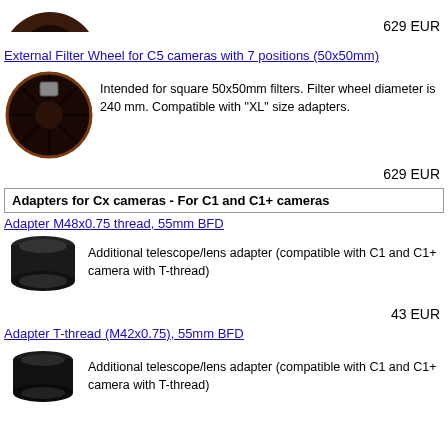[Figure (photo): Partial view of a circular filter wheel at the top of the page, cropped]
629 EUR
External Filter Wheel for C5 cameras with 7 positions (50x50mm)
[Figure (photo): Black circular filter wheel with 7 positions for 50x50mm filters]
Intended for square 50x50mm filters. Filter wheel diameter is 240 mm. Compatible with "XL" size adapters.
629 EUR
Adapters for Cx cameras - For C1 and C1+ cameras
Adapter M48x0.75 thread, 55mm BFD
[Figure (photo): Black cylindrical telescope/lens adapter ring, M48x0.75 thread]
Additional telescope/lens adapter (compatible with C1 and C1+ camera with T-thread)
43 EUR
Adapter T-thread (M42x0.75), 55mm BFD
[Figure (photo): Black cylindrical telescope/lens adapter ring, T-thread M42x0.75]
Additional telescope/lens adapter (compatible with C1 and C1+ camera with T-thread)